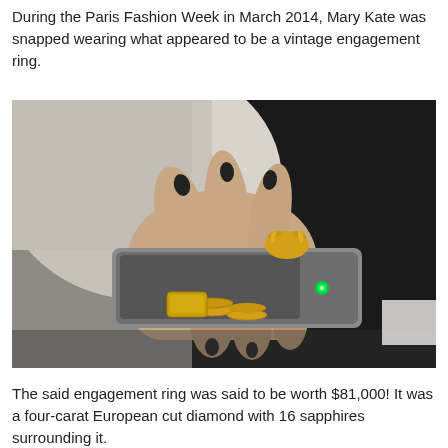During the Paris Fashion Week in March 2014, Mary Kate was snapped wearing what appeared to be a vintage engagement ring.
[Figure (photo): Close-up photo of a hand holding a smartphone, wearing a gold ornate ring and gold bracelets/rings visible. A green LED light is visible on the phone.]
The said engagement ring was said to be worth $81,000! It was a four-carat European cut diamond with 16 sapphires surrounding it.